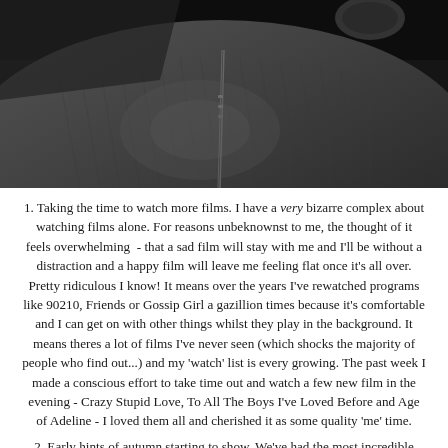[Figure (photo): Black and white close-up photo of someone wearing a knit sweater or jacket with what appears to be a microphone or recording equipment visible in the upper right]
1. Taking the time to watch more films. I have a very bizarre complex about watching films alone. For reasons unbeknownst to me, the thought of it feels overwhelming  - that a sad film will stay with me and I'll be without a distraction and a happy film will leave me feeling flat once it's all over. Pretty ridiculous I know! It means over the years I've rewatched programs like 90210, Friends or Gossip Girl a gazillion times because it's comfortable and I can get on with other things whilst they play in the background. It means theres a lot of films I've never seen (which shocks the majority of people who find out...) and my 'watch' list is every growing. The past week I made a conscious effort to take time out and watch a few new film in the evening - Crazy Stupid Love, To All The Boys I've Loved Before and Age of Adeline - I loved them all and cherished it as some quality 'me' time.
2. Early hints of autumn starting to show. We've had the most incredible